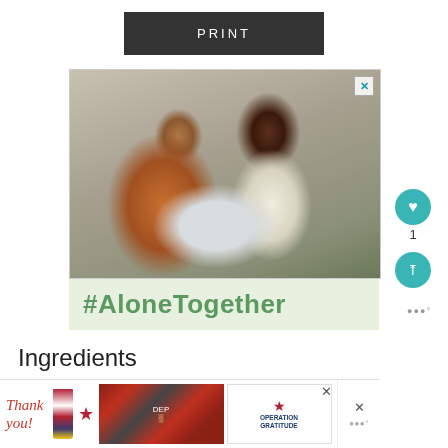[Figure (other): Dark gray PRINT button]
[Figure (photo): Advertisement photo showing a man and girl sitting on a couch using a laptop in a video call, with a #AloneTogether hashtag on a light green background below]
Ingredients
[Figure (other): Bottom banner ad: Thank you message with American flag pencil graphic, firefighters photo, and Operation Gratitude logo]